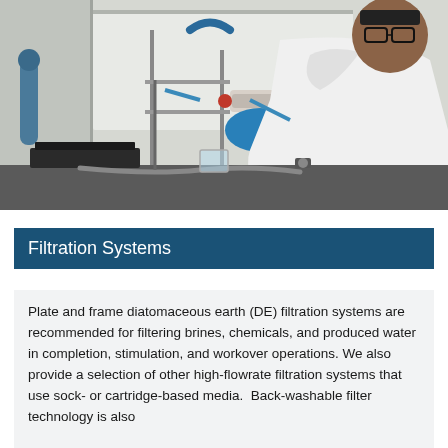[Figure (photo): A laboratory technician in a white lab coat and blue gloves works with filtration equipment on a lab bench. Various tubes, clamps, and lab apparatus are visible. The person is wearing glasses and a watch.]
Filtration Systems
Plate and frame diatomaceous earth (DE) filtration systems are recommended for filtering brines, chemicals, and produced water in completion, stimulation, and workover operations. We also provide a selection of other high-flowrate filtration systems that use sock- or cartridge-based media.  Back-washable filter technology is also available.